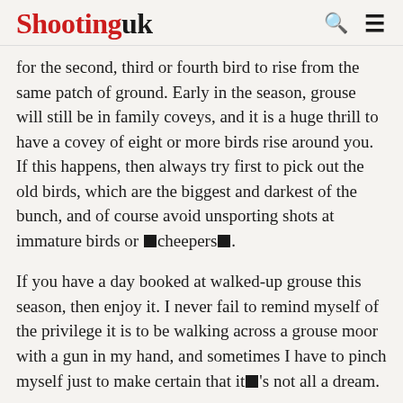Shooting uk
for the second, third or fourth bird to rise from the same patch of ground. Early in the season, grouse will still be in family coveys, and it is a huge thrill to have a covey of eight or more birds rise around you. If this happens, then always try first to pick out the old birds, which are the biggest and darkest of the bunch, and of course avoid unsporting shots at immature birds or “cheepers”.
If you have a day booked at walked-up grouse this season, then enjoy it. I never fail to remind myself of the privilege it is to be walking across a grouse moor with a gun in my hand, and sometimes I have to pinch myself just to make certain that it’s not all a dream.
An A–Z of shooting